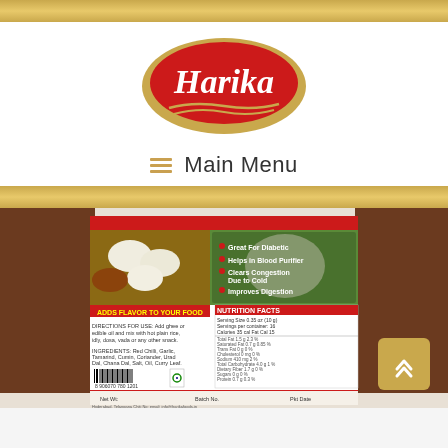[Figure (logo): Harika brand logo — red oval with gold border containing white italic text 'Harika' with gold wave lines below]
≡  Main Menu
[Figure (photo): Product packaging back label of Harika food product showing idli image, bullet points (Great For Diabetic, Helps in Blood Purifier, Clears Congestion Due to Cold, Improves Digestion), nutrition facts panel, ingredients list, barcode, and manufacturer information. Background shows brown spice powder on both sides of the white label.]